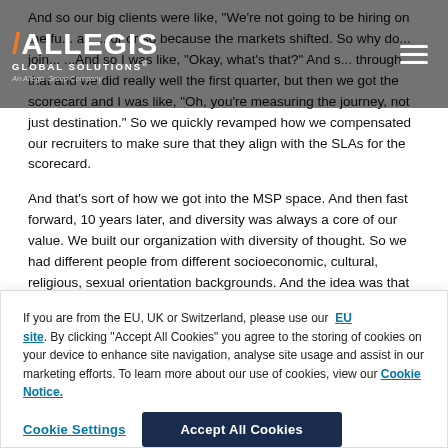ALLEGIS GLOBAL SOLUTIONS — An Allegis Group Company
And so our big clients were like, "We're not going to be hiring on the fu... a... ...or or so because the markets shifted. So why do... join... ...And so I was like, "Okay, what's that?" And s... through that and we did really well the first quarter, but then we got the scorecard and I was like, "Oh, you're measuring the journey, not just destination." So we quickly revamped how we compensated our recruiters to make sure that they align with the SLAs for the scorecard.
And that's sort of how we got into the MSP space. And then fast forward, 10 years later, and diversity was always a core of our value. We built our organization with diversity of thought. So we had different people from different socioeconomic, cultural, religious, sexual orientation backgrounds. And the idea was that even though we all may look differently, if we don't come from different backgrounds, because we all have multiple layers of who we are, then you're honestly not going
If you are from the EU, UK or Switzerland, please use our EU site. By clicking "Accept All Cookies" you agree to the storing of cookies on your device to enhance site navigation, analyse site usage and assist in our marketing efforts. To learn more about our use of cookies, view our Cookie Notice.
Cookie Settings | Accept All Cookies